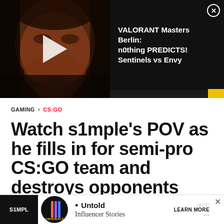[Figure (screenshot): Video thumbnail showing a bearded man's face on the left side with a play button overlay, and a dark panel on the right with text 'VALORANT Masters Berlin: n0thing PREDICTS! Sentinels vs Envy' and a close (X) button. A small yellow bar is in the lower right corner.]
GAMING > CS:GO
Watch s1mple's POV as he fills in for semi-pro CS:GO team and destroys opponents
Daniel Cleary   Last updated: Jun 19, 2019
[Figure (screenshot): Advertisement banner at the bottom showing 'S1MPL' tag on left, Originals logo (circular), bullet point, 'Untold Influencer Stories' text, and 'LEARN MORE' button on right with an X close button.]